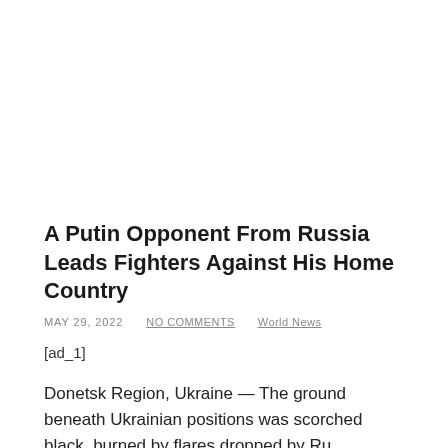A Putin Opponent From Russia Leads Fighters Against His Home Country
MAY 29, 2022   NO COMMENTS   World News
[ad_1]
Donetsk Region, Ukraine — The ground beneath Ukrainian positions was scorched black, burned by flares dropped by Russian jets. The sunflower fields of wheat had gone golden, and